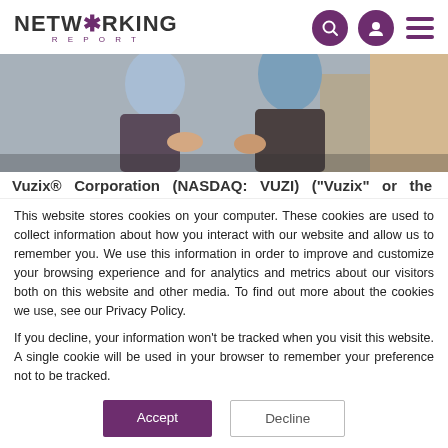NETWORKING REPORT
[Figure (photo): Two people sitting together, one in a light blue jacket and one in a denim shirt, viewed from the waist down, sitting on a couch or floor]
Vuzix® Corporation (NASDAQ: VUZI) ("Vuzix" or the
This website stores cookies on your computer. These cookies are used to collect information about how you interact with our website and allow us to remember you. We use this information in order to improve and customize your browsing experience and for analytics and metrics about our visitors both on this website and other media. To find out more about the cookies we use, see our Privacy Policy.
If you decline, your information won't be tracked when you visit this website. A single cookie will be used in your browser to remember your preference not to be tracked.